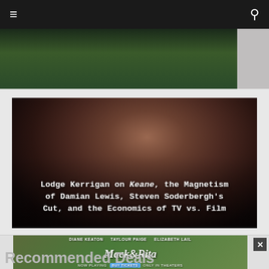≡  🔍
[Figure (photo): Dark green-toned image strip at top of page, partially visible]
[Figure (photo): Dark cinematic still of a man (Damian Lewis) with troubled expression, used as article thumbnail for Lodge Kerrigan article about Keane]
Lodge Kerrigan on Keane, the Magnetism of Damian Lewis, Steven Soderbergh's Cut, and the Economics of TV vs. Film
[Figure (photo): Advertisement for Mack & Rita film featuring Diane Keaton, Taylour Paige, Elizabeth Lail, Now Playing Only in Theaters with Buy Tickets button]
Recommended Deals